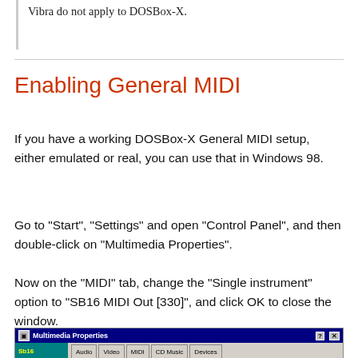Vibra do not apply to DOSBox-X.
Enabling General MIDI
If you have a working DOSBox-X General MIDI setup, either emulated or real, you can use that in Windows 98.
Go to "Start", "Settings" and open "Control Panel", and then double-click on "Multimedia Properties".
Now on the "MIDI" tab, change the "Single instrument" option to "SB16 MIDI Out [330]", and click OK to close the window.
[Figure (screenshot): Screenshot of Windows 98 Multimedia Properties dialog showing the title bar and tab row including Audio, Video, MIDI, CD Music, Devices tabs, with SB16 label visible on the left.]